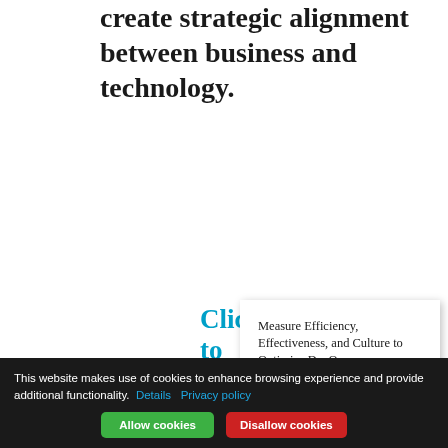create strategic alignment between business and technology.
Click here to download.
[Figure (illustration): Book cover for 'Measure Efficiency, Effectiveness, and Culture to Optimize DevOps Transformation' from Metrics for DevOps Initiatives, DevOps Enterprise Forum. White top half with black title text; purple bottom half with white subtitle and author text.]
This website makes use of cookies to enhance browsing experience and provide additional functionality. Details Privacy policy Allow cookies Disallow cookies